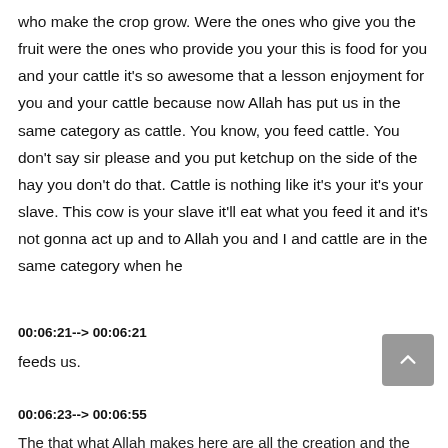who make the crop grow. Were the ones who give you the fruit were the ones who provide you your this is food for you and your cattle it's so awesome that a lesson enjoyment for you and your cattle because now Allah has put us in the same category as cattle. You know, you feed cattle. You don't say sir please and you put ketchup on the side of the hay you don't do that. Cattle is nothing like it's your it's your slave. This cow is your slave it'll eat what you feed it and it's not gonna act up and to Allah you and I and cattle are in the same category when he
00:06:21--> 00:06:21
feeds us.
00:06:23--> 00:06:55
The that what Allah makes here are all the creation and the that